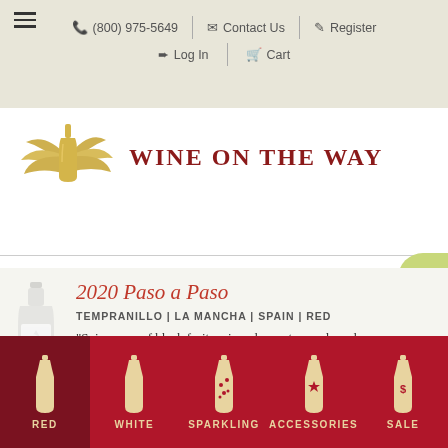☰  ☎ (800) 975-5649  ✉ Contact Us  ✎ Register  ➨ Log In  🛒 Cart
[Figure (logo): Wine on the Way logo with golden winged wine bottle and dark red text reading WINE ON THE WAY]
2020 Paso a Paso
TEMPRANILLO | LA MANCHA | SPAIN | RED
"Spicy nose of black fruit, anise, cloves, tapenade and
RED  WHITE  SPARKLING  ACCESSORIES  SALE